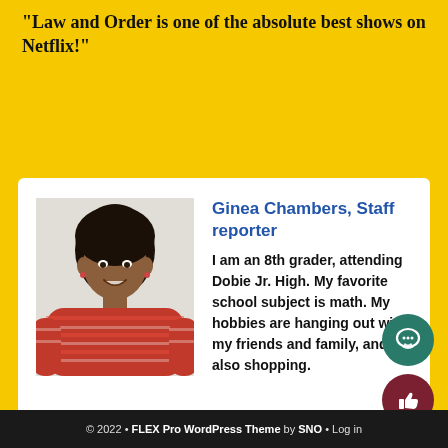“Law and Order is one of the absolute best shows on Netflix!”
[Figure (photo): Photo of Ginea Chambers, a young girl wearing a red striped long-sleeve shirt, smiling, standing in front of a white wall.]
Ginea Chambers, Staff reporter
I am an 8th grader, attending Dobie Jr. High. My favorite school subject is math. My hobbies are hanging out with my friends and family, and also shopping.
© 2022 • FLEX Pro WordPress Theme by SNO • Log in